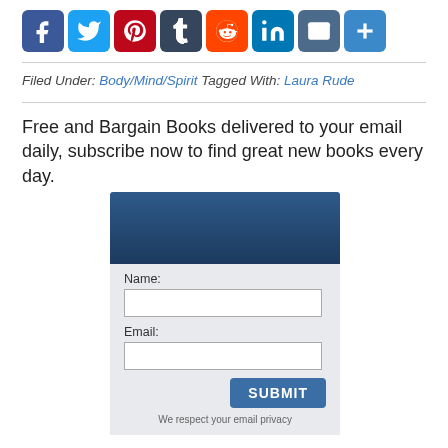[Figure (other): Row of social media sharing icons: Facebook (blue), Twitter (light blue), Pinterest (red), Tumblr (dark grey), Reddit (orange), LinkedIn (blue), Email (dark blue), Share/Plus (blue)]
Filed Under: Body/Mind/Spirit Tagged With: Laura Rude
Free and Bargain Books delivered to your email daily, subscribe now to find great new books every day.
[Figure (other): Email subscription form with a dark blue header box, Name and Email input fields, a SUBMIT button, and 'We respect your email privacy' note.]